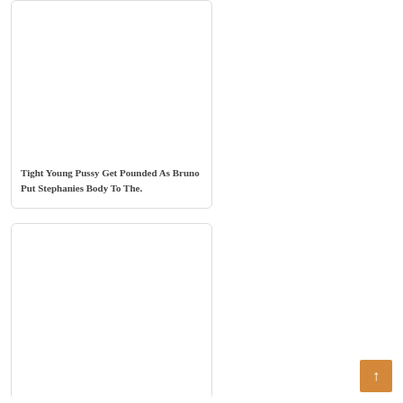[Figure (other): Card with image placeholder (white/blank area) and title text below]
Tight Young Pussy Get Pounded As Bruno Put Stephanies Body To The.
[Figure (other): Card with image placeholder (white/blank area), no title visible]